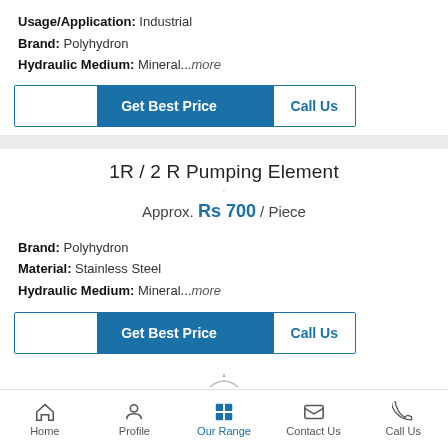Usage/Application: Industrial
Brand: Polyhydron
Hydraulic Medium: Mineral...more
[Figure (screenshot): Get Best Price and Call Us buttons row (first product)]
1R / 2 R Pumping Element
Approx. Rs 700 / Piece
Brand: Polyhydron
Material: Stainless Steel
Hydraulic Medium: Mineral...more
[Figure (screenshot): Get Best Price and Call Us buttons row (second product)]
Home | Profile | Our Range | Contact Us | Call Us